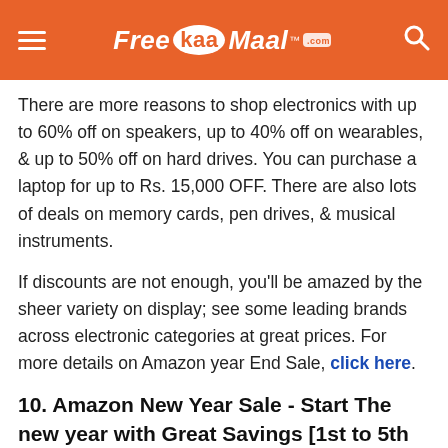FreeKaaMaal
There are more reasons to shop electronics with up to 60% off on speakers, up to 40% off on wearables, & up to 50% off on hard drives. You can purchase a laptop for up to Rs. 15,000 OFF. There are also lots of deals on memory cards, pen drives, & musical instruments.
If discounts are not enough, you'll be amazed by the sheer variety on display; see some leading brands across electronic categories at great prices. For more details on Amazon year End Sale, click here.
10. Amazon New Year Sale - Start The new year with Great Savings [1st to 5th January]
Welcome the new year with great offers across categories. The e-commerce giant comes up with the new year's sale every year.